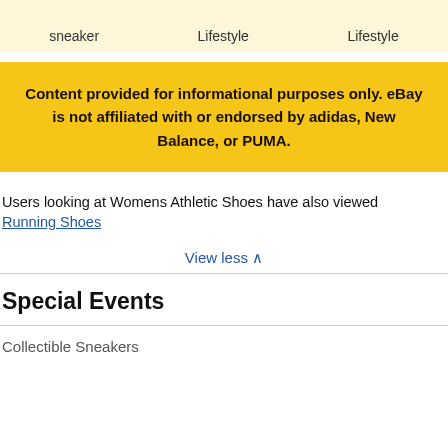sneaker   Lifestyle   Lifestyle
Content provided for informational purposes only. eBay is not affiliated with or endorsed by adidas, New Balance, or PUMA.
Users looking at Womens Athletic Shoes have also viewed
Running Shoes
View less ∧
Special Events
Collectible Sneakers